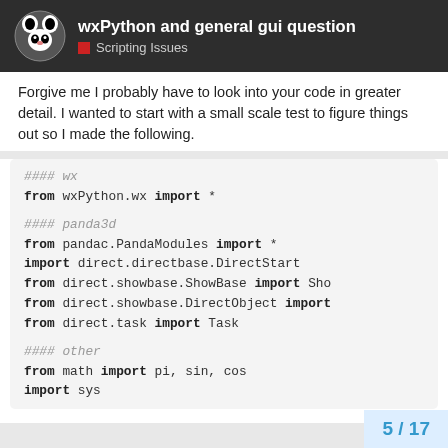wxPython and general gui question — Scripting Issues
Forgive me I probably have to look into your code in greater detail. I wanted to start with a small scale test to figure things out so I made the following.
#### wx
from wxPython.wx import *

#### panda3d
from pandac.PandaModules import *
import direct.directbase.DirectStart
from direct.showbase.ShowBase import Sho
from direct.showbase.DirectObject import
from direct.task import Task

#### other
from math import pi, sin, cos
import sys
5 / 17